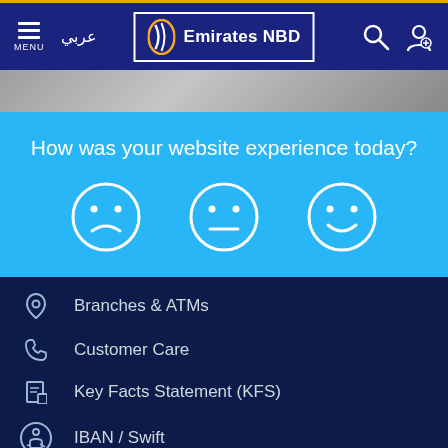Emirates NBD navigation bar with MENU, Arabic text عربي, logo, search and account icons
[Figure (screenshot): Grey gradient banner strip below navigation]
How was your website experience today?
[Figure (illustration): Three emoji faces: sad (frowning), neutral, and happy (smiling) in white outlines on blue background]
Branches & ATMs
Customer Care
Key Facts Statement (KFS)
IBAN / Swift